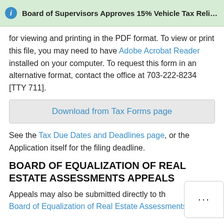Board of Supervisors Approves 15% Vehicle Tax Relief f...
for viewing and printing in the PDF format. To view or print this file, you may need to have Adobe Acrobat Reader installed on your computer. To request this form in an alternative format, contact the office at 703-222-8234 [TTY 711].
Download from Tax Forms page
See the Tax Due Dates and Deadlines page, or the Application itself for the filing deadline.
BOARD OF EQUALIZATION OF REAL ESTATE ASSESSMENTS APPEALS
Appeals may also be submitted directly to the Board of Equalization of Real Estate Assessments